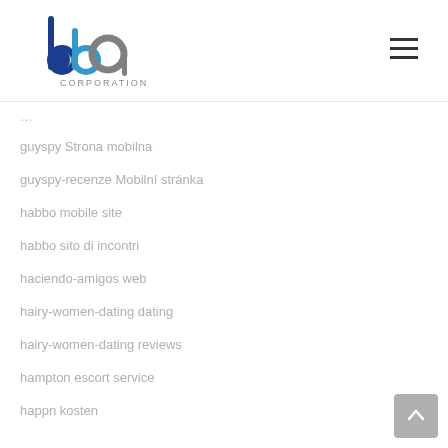[Figure (logo): bbp Corporation logo with blue and grey stylized letters and CORPORATION text below]
guyspy Strona mobilna
guyspy-recenze Mobilní stránka
habbo mobile site
habbo sito di incontri
haciendo-amigos web
hairy-women-dating dating
hairy-women-dating reviews
hampton escort service
happn kosten